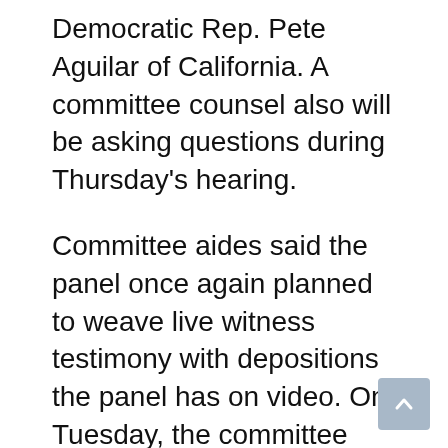Democratic Rep. Pete Aguilar of California. A committee counsel also will be asking questions during Thursday's hearing.
Committee aides said the panel once again planned to weave live witness testimony with depositions the panel has on video. On Tuesday, the committee teased video from former Trump White House attorney Eric Herschmann saying that he had told Eastman on January 7 that he should “get a great effing criminal defense attorney.”
This story has been updated with additional developments Wednesday.
Quoted from Various Sources